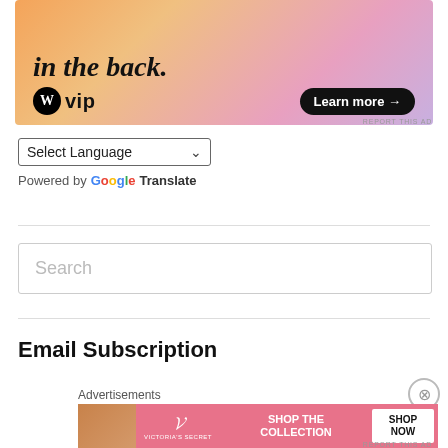[Figure (illustration): WordPress VIP advertisement banner with colorful gradient background (orange, pink, purple). Large italic text 'in the back.' at top, WordPress W logo with 'vip' text and a 'Learn more →' button at bottom.]
REPORT THIS AD
[Figure (screenshot): Language selector dropdown showing 'Select Language' with a downward arrow chevron, bordered dropdown control.]
Powered by Google Translate
[Figure (screenshot): Search input box with placeholder text 'Search']
Email Subscription
Advertisements
[Figure (illustration): Victoria's Secret advertisement banner with pink background, woman's face on left, VS logo in center, 'SHOP THE COLLECTION' text, and 'SHOP NOW' white button on right.]
REPORT THIS AD